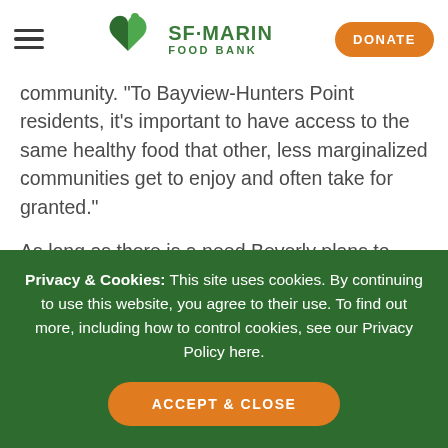SF-MARIN FOOD BANK [logo] [hamburger menu] [DONATE button]
community. “To Bayview-Hunters Point residents, it’s important to have access to the same healthy food that other, less marginalized communities get to enjoy and often take for granted.”
As long as there is a need Beverly plans to keep delivering, and the Food Bank plans to keep supporting her efforts to improve food access in areas that
Privacy & Cookies: This site uses cookies. By continuing to use this website, you agree to their use. To find out more, including how to control cookies, see our Privacy Policy here.
ACCEPT & CLOSE